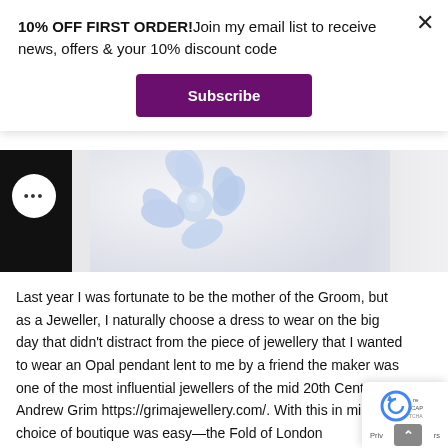10% OFF FIRST ORDER!Join my email list to receive news, offers & your 10% discount code
Subscribe
[Figure (photo): Close-up photo of a pale blue chalcedony or opal flower-shaped jewelry piece against a white background, with black fabric visible on the left side. A circular button with three dots is overlaid on the left.]
Last year I was fortunate to be the mother of the Groom, but as a Jeweller, I naturally choose a dress to wear on the big day that didn't distract from the piece of jewellery that I wanted to wear an Opal pendant lent to me by a friend the maker was one of the most influential jewellers of the mid 20th Century, Andrew Grim https://grimajewellery.com/. With this in mind, the choice of boutique was easy—the Fold of London